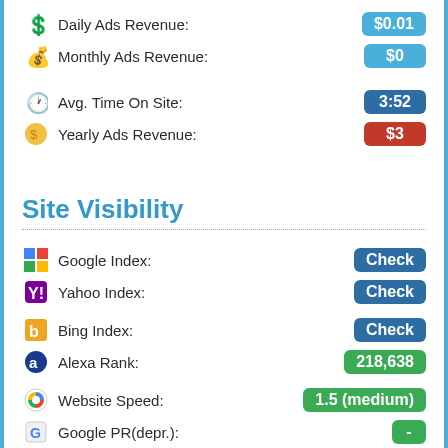Daily Ads Revenue: $0.01
Monthly Ads Revenue: $0
Avg. Time On Site: 3:52
Yearly Ads Revenue: $3
Site Visibility
Google Index: Check
Yahoo Index: Check
Bing Index: Check
Alexa Rank: 218,638
Website Speed: 1.5 (medium)
Google PR(depr.): -